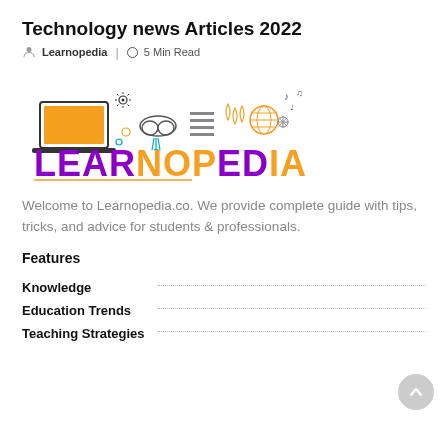Technology news Articles 2022
Learnopedia  |  O 5 Min Read
[Figure (logo): Learnopedia logo with tech icons (laptop, cloud, globe, music notes) and the word LEARNOPEDIA in large purple/orange letters]
Welcome to Learnopedia.co. We provide complete guide with tips, tricks, and advice for students & professionals.
Features
Knowledge
Education Trends
Teaching Strategies